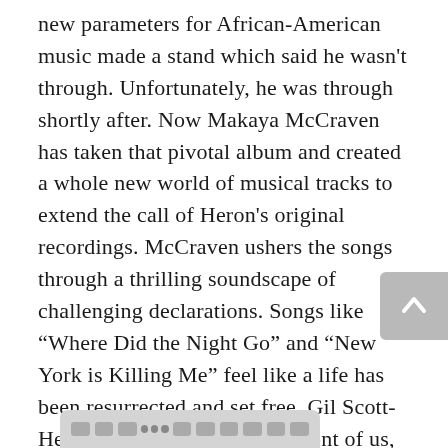new parameters for African-American music made a stand which said he wasn't through. Unfortunately, he was through shortly after. Now Makaya McCraven has taken that pivotal album and created a whole new world of musical tracks to extend the call of Heron's original recordings. McCraven ushers the songs through a thrilling soundscape of challenging declarations. Songs like “Where Did the Night Go” and “New York is Killing Me” feel like a life has been resurrected and set free. Gil Scott-Heron is once again right in front of us, pushing listeners into rethinking how they feel music. This is an album that needs to be heard by anyone who was once shown the light by Heron's orig… n. Makaya